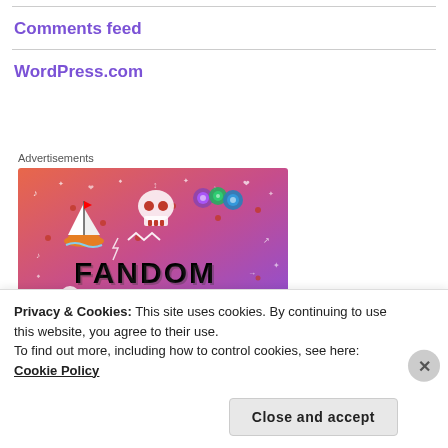Comments feed
WordPress.com
Advertisements
[Figure (illustration): Fandom On advertisement banner with colorful gradient background (orange to purple) featuring a sailboat, skull, dice, flowers, and the text FANDOM ON in bold black letters with white doodles.]
Privacy & Cookies: This site uses cookies. By continuing to use this website, you agree to their use.
To find out more, including how to control cookies, see here: Cookie Policy
Close and accept